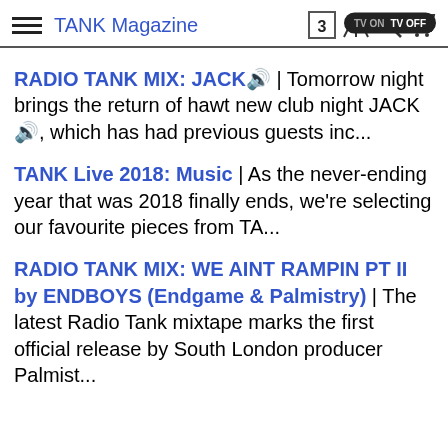TANK Magazine
RADIO TANK MIX: JACK🔊 | Tomorrow night brings the return of hawt new club night JACK🔊, which has had previous guests inc...
TANK Live 2018: Music | As the never-ending year that was 2018 finally ends, we're selecting our favourite pieces from TA...
RADIO TANK MIX: WE AINT RAMPIN PT II by ENDBOYS (Endgame & Palmistry) | The latest Radio Tank mixtape marks the first official release by South London producer Palmist...